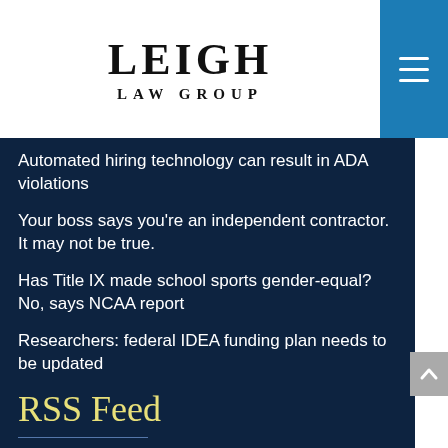[Figure (logo): Leigh Law Group logo with serif font]
Automated hiring technology can result in ADA violations
Your boss says you're an independent contractor. It may not be true.
Has Title IX made school sports gender-equal? No, says NCAA report
Researchers: federal IDEA funding plan needs to be updated
RSS Feed
Subscribe To This Blog's Feed